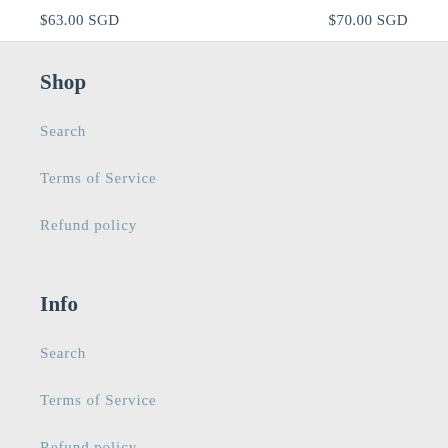$63.00 SGD
$70.00 SGD
Shop
Search
Terms of Service
Refund policy
Info
Search
Terms of Service
Refund policy